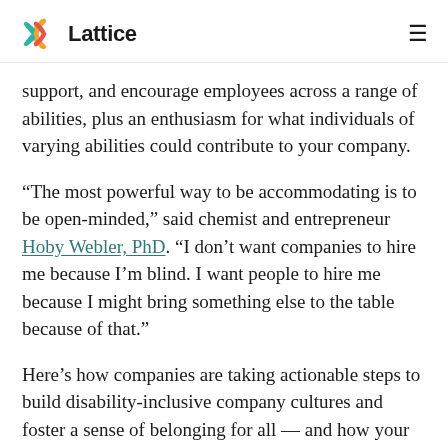Lattice
support, and encourage employees across a range of abilities, plus an enthusiasm for what individuals of varying abilities could contribute to your company.
“The most powerful way to be accommodating is to be open-minded,” said chemist and entrepreneur Hoby Webler, PhD. “I don’t want companies to hire me because I’m blind. I want people to hire me because I might bring something else to the table because of that.”
Here’s how companies are taking actionable steps to build disability-inclusive company cultures and foster a sense of belonging for all — and how your organization can, too.
1. Ensure application